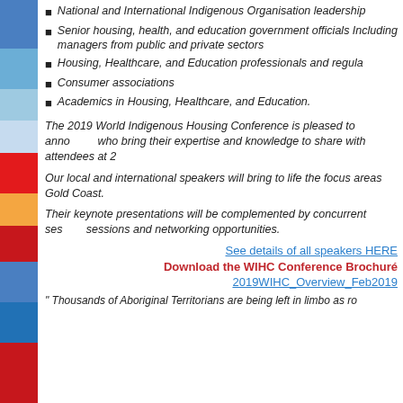National and International Indigenous Organisation leadership
Senior housing, health, and education government officials Including managers from public and private sectors
Housing, Healthcare, and Education professionals and regula...
Consumer associations
Academics in Housing, Healthcare, and Education.
The 2019 World Indigenous Housing Conference is pleased to announce... who bring their expertise and knowledge to share with attendees at 2...
Our local and international speakers will bring to life the focus areas... Gold Coast.
Their keynote presentations will be complemented by concurrent ses... sessions and networking opportunities.
See details of all speakers HERE
Download the WIHC Conference Brochure
2019WIHC_Overview_Feb2019
" Thousands of Aboriginal Territorians are being left in limbo as ro...